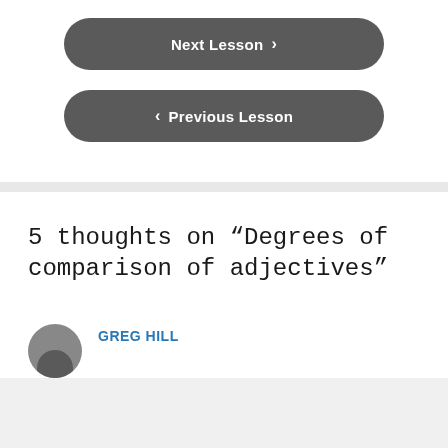[Figure (screenshot): Next Lesson navigation button with right chevron, dark gray rounded rectangle]
[Figure (screenshot): Previous Lesson navigation button with left chevron, dark gray rounded rectangle]
5 thoughts on “Degrees of comparison of adjectives”
GREG HILL